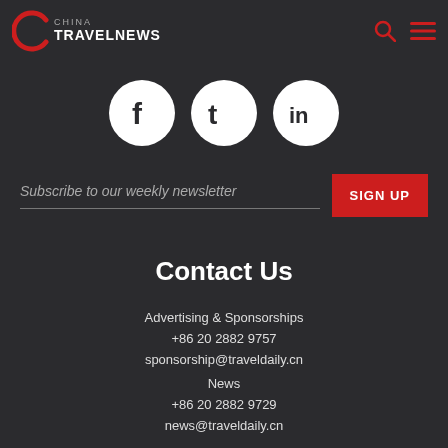CHINA TRAVELNEWS
[Figure (logo): China TravelNews logo with red arc icon and text CHINA TRAVELNEWS, plus search and menu icons on the right]
[Figure (infographic): Three white circular social media icons: Facebook (f), Twitter (t), LinkedIn (in)]
Subscribe to our weekly newsletter   SIGN UP
Contact Us
Advertising & Sponsorships
+86 20 2882 9757
sponsor ship@traveldaily.cn
News
+86 20 2882 9729
news@traveldaily.cn